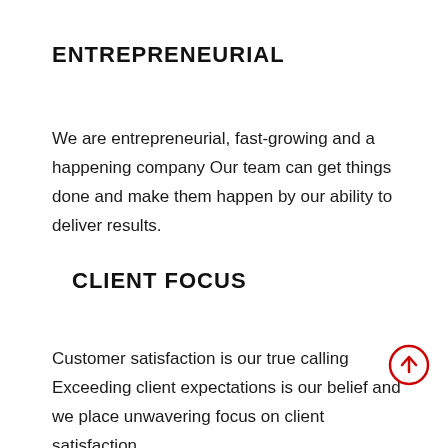ENTREPRENEURIAL
We are entrepreneurial, fast-growing and a happening company Our team can get things done and make them happen by our ability to deliver results.
CLIENT FOCUS
Customer satisfaction is our true calling Exceeding client expectations is our belief and we place unwavering focus on client satisfaction.